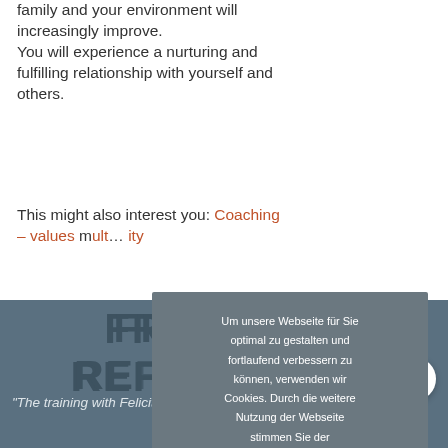family and your environment will increasingly improve.
You will experience a nurturing and fulfilling relationship with yourself and others.
This might also interest you: Coaching – values m... ity
Um unsere Webseite für Sie optimal zu gestalten und fortlaufend verbessern zu können, verwenden wir Cookies. Durch die weitere Nutzung der Webseite stimmen Sie der Verwendung von Cookies zu. Weitere Informationen zu Cookies
Akzeptieren
FROM MY REFERENCES
"The training with Felicitas von